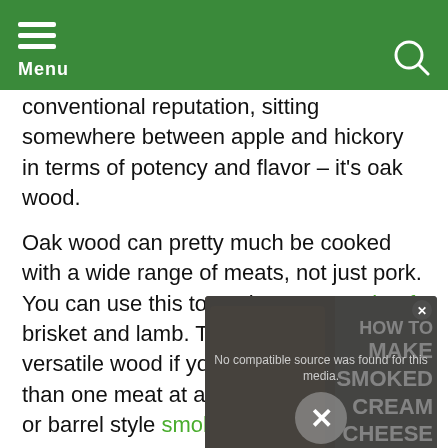Menu
conventional reputation, sitting somewhere between apple and hickory in terms of potency and flavor – it's oak wood.
Oak wood can pretty much be cooked with a wide range of meats, not just pork. You can use this to cook sausages, beef, brisket and lamb. This makes it a very versatile wood if you're cooking more than one meat at a time in a large kettle or barrel style smoker.
[Figure (screenshot): Video overlay showing 'No compatible source was found for this media.' with an X close button and background image of smoked food with text 'HOW TO MAKE SMOKED CREAM CHEESE']